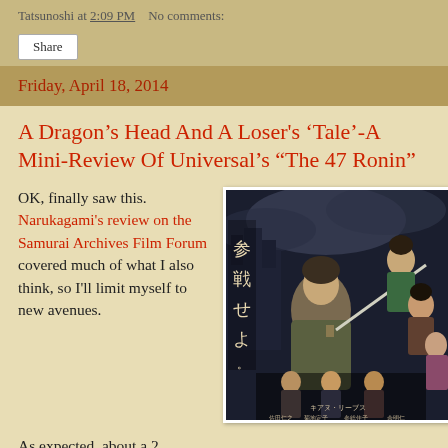Tatsunoshi at 2:09 PM   No comments:
Share
Friday, April 18, 2014
A Dragon's Head And A Loser's 'Tale'-A Mini-Review Of Universal's "The 47 Ronin"
OK, finally saw this. Narukagami's review on the Samurai Archives Film Forum covered much of what I also think, so I'll limit myself to new avenues.
[Figure (photo): Movie poster for 'The 47 Ronin' featuring Keanu Reeves and cast with Japanese characters on the left side]
As expected, about a 2